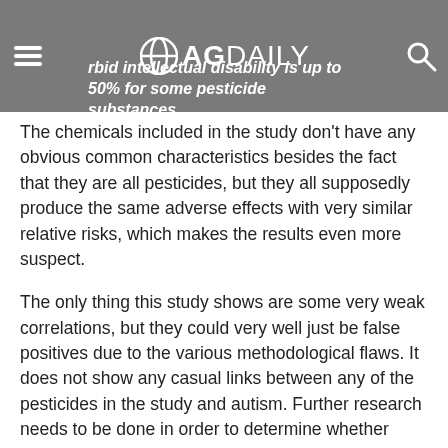AGDAILY — ...rbid intellectual disability is up to 50% for some pesticide substances.
The chemicals included in the study don't have any obvious common characteristics besides the fact that they are all pesticides, but they all supposedly produce the same adverse effects with very similar relative risks, which makes the results even more suspect.
The only thing this study shows are some very weak correlations, but they could very well just be false positives due to the various methodological flaws. It does not show any casual links between any of the pesticides in the study and autism. Further research needs to be done in order to determine whether these findings can a) be replicated and b) show a casual relationship. Unfortunately, the damage has already been done. The conclusion highly overstates the findings to make it seem as though there is a link between